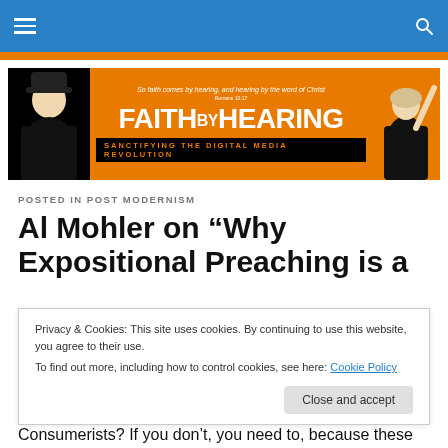Navigation bar with hamburger menu and search icon
[Figure (logo): Faith by Hearing logo banner — orange background with two historical figure illustrations, title 'FAIThbyHEARING' and subtitle 'SANCTIFYING THE DIGITAL MEDIA REVOLUTION'. Tagline: 'So faith comes by hearing, and hearing by the word of Christ']
POSTED IN POST MODERNISM
Al Mohler on “Why Expositional Preaching is a
Privacy & Cookies: This site uses cookies. By continuing to use this website, you agree to their use.
To find out more, including how to control cookies, see here: Cookie Policy
Close and accept
Consumerists? If you don’t, you need to, because these